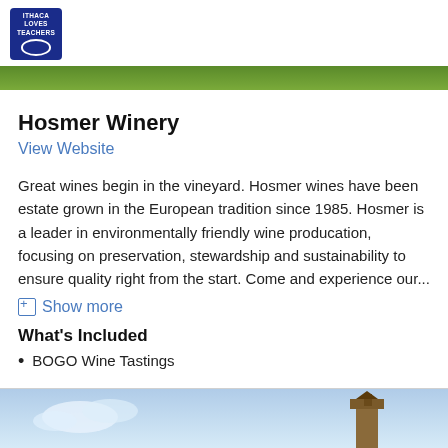[Figure (logo): Ithaca Loves Teachers logo — blue square with white circular border and text]
[Figure (photo): Green vineyard/foliage hero strip photo]
Hosmer Winery
View Website
Great wines begin in the vineyard. Hosmer wines have been estate grown in the European tradition since 1985. Hosmer is a leader in environmentally friendly wine producation, focusing on preservation, stewardship and sustainability to ensure quality right from the start. Come and experience our...
Show more
What's Included
BOGO Wine Tastings
[Figure (photo): Blue sky with wooden tower/structure photo at the bottom of the page]